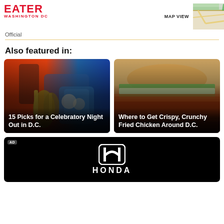EATER WASHINGTON DC
Official
Also featured in:
[Figure (photo): Card image: champagne bottle in ice bucket with decorative pillows, overlaid with text '15 Picks for a Celebratory Night Out in D.C.']
[Figure (photo): Card image: crispy fried chicken sandwich with pickles and sauce, overlaid with text 'Where to Get Crispy, Crunchy Fried Chicken Around D.C.']
[Figure (logo): Honda advertisement with Honda H logo and HONDA text on black background, labeled AD]